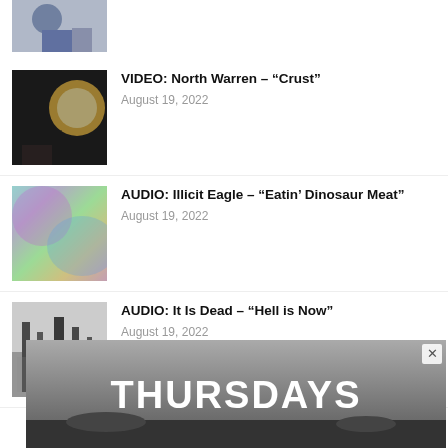[Figure (photo): Partial thumbnail of a person holding a microphone, cropped at the top]
[Figure (photo): Concert photo with bright stage light]
VIDEO: North Warren – “Crust”
August 19, 2022
[Figure (photo): Colorful iridescent abstract background]
AUDIO: Illicit Eagle – “Eatin’ Dinosaur Meat”
August 19, 2022
[Figure (photo): Black and white grainy image of trees or forest]
AUDIO: It Is Dead – “Hell is Now”
August 19, 2022
[Figure (photo): Advertisement banner showing THURSDAYS text over a dramatic sky landscape]